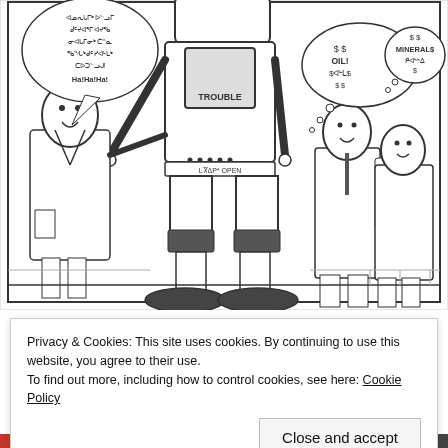[Figure (illustration): Black and white comic/cartoon illustration showing a large robot-like figure in the center wearing swim fins and shorts with text 'LႿΔΡ* OPEN' on its torso. On the left, a man in a lab coat with a speech bubble containing syllabic script text ending in 'Ha!Ha!Ha!'. On the right, two men in suits with thought bubbles showing '$OIL!$', 'MINERAL$ ᑭᐊᔅᔅᐃᓐᑕ $'. The figure has a TV/screen in its chest area.]
Privacy & Cookies: This site uses cookies. By continuing to use this website, you agree to their use.
To find out more, including how to control cookies, see here: Cookie Policy
Close and accept